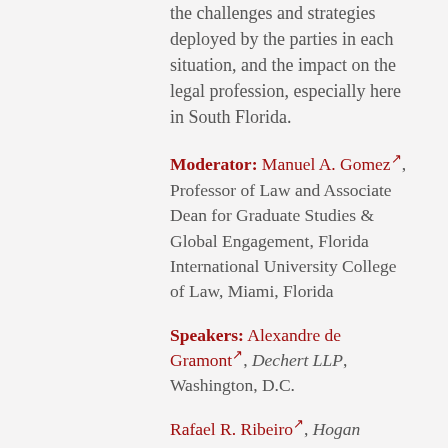the challenges and strategies deployed by the parties in each situation, and the impact on the legal profession, especially here in South Florida.
Moderator: Manuel A. Gomez, Professor of Law and Associate Dean for Graduate Studies & Global Engagement, Florida International University College of Law, Miami, Florida
Speakers: Alexandre de Gramont, Dechert LLP, Washington, D.C.
Rafael R. Ribeiro, Hogan Lovells LLP, Miami, Florida
Fatima Wolff, General Counsel & Compliance, Latin America, Boston